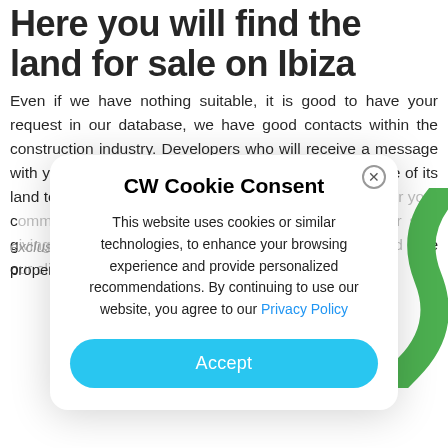Here you will find the land for sale on Ibiza
Even if we have nothing suitable, it is good to have your request in our database, we have good contacts within the construction industry. Developers who will receive a message with your request that can quickly lead to a possible sale of its land to build your dream. We will find th… ur c… e a… nd pl… e g… ur ne… at C… f la… e vi… ve o… t exclusive villas in Menorca !!!! Here you find the best property for sale in Ibiza !!!
[Figure (screenshot): CW Cookie Consent modal dialog overlay. Title: 'CW Cookie Consent'. Body text: 'This website uses cookies or similar technologies, to enhance your browsing experience and provide personalized recommendations. By continuing to use our website, you agree to our Privacy Policy'. Button: 'Accept'. Close button (X circle) in top right corner. Green decorative curl on right side.]